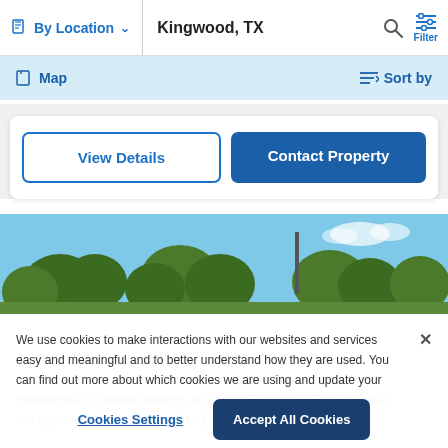By Location  ∨   Kingwood, TX
Map   Sort by
View Details   Contact Property
[Figure (photo): Outdoor photo showing trees and sky, partially visible property listing image.]
We use cookies to make interactions with our websites and services easy and meaningful and to better understand how they are used. You can find out more about which cookies we are using and update your preferences in Cookies Settings. By clicking "Accept All Cookies," you are agreeing to our use of cookies. Cookie Notice
Cookies Settings   Accept All Cookies